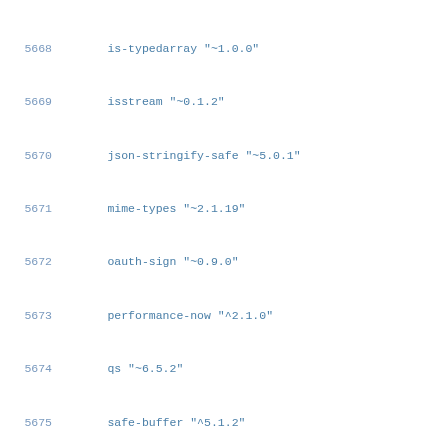5668    is-typedarray "~1.0.0"
5669    isstream "~0.1.2"
5670    json-stringify-safe "~5.0.1"
5671    mime-types "~2.1.19"
5672    oauth-sign "~0.9.0"
5673    performance-now "^2.1.0"
5674    qs "~6.5.2"
5675    safe-buffer "^5.1.2"
5676    tough-cookie "~2.4.3"
5677    tunnel-agent "^0.6.0"
5678    uuid "^3.3.2"
5679
5680  require-directory@^2.1.1:
5681    version "2.1.1"
5682    resolved "https://registry.yarnpkg.com/require-
5683    integrity sha1-jGStX9MNqxyXbiNE/+f3kqam30I=
5684
5685  require-main-filename@^1.0.1:
5686    version "1.0.1"
5687    resolved "https://registry.yarnpkg.com/require-
5688    integrity sha1-l/cXtp1IeE9fUmpsWqj/3aBVpNE=
5689